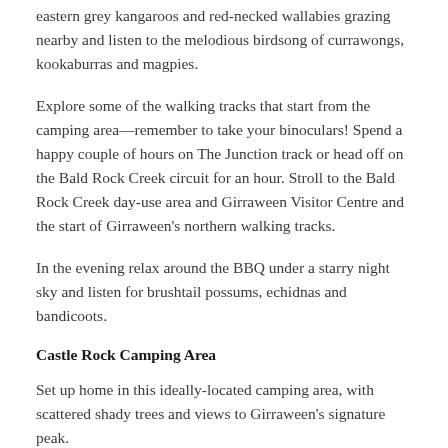eastern grey kangaroos and red-necked wallabies grazing nearby and listen to the melodious birdsong of currawongs, kookaburras and magpies.
Explore some of the walking tracks that start from the camping area—remember to take your binoculars! Spend a happy couple of hours on The Junction track or head off on the Bald Rock Creek circuit for an hour. Stroll to the Bald Rock Creek day-use area and Girraween Visitor Centre and the start of Girraween's northern walking tracks.
In the evening relax around the BBQ under a starry night sky and listen for brushtail possums, echidnas and bandicoots.
Castle Rock Camping Area
Set up home in this ideally-located camping area, with scattered shady trees and views to Girraween's signature peak.